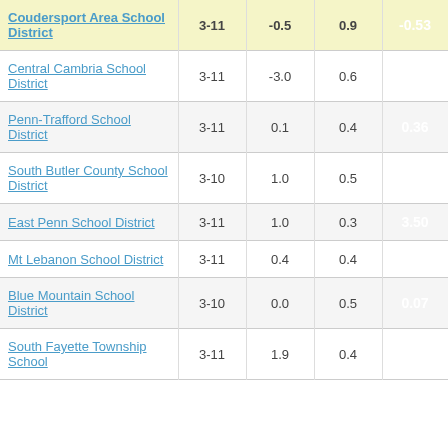| School District | Grades | Col3 | Col4 | Score |
| --- | --- | --- | --- | --- |
| Coudersport Area School District | 3-11 | -0.5 | 0.9 | -0.53 |
| Central Cambria School District | 3-11 | -3.0 | 0.6 | -5.07 |
| Penn-Trafford School District | 3-11 | 0.1 | 0.4 | 0.36 |
| South Butler County School District | 3-10 | 1.0 | 0.5 | 1.87 |
| East Penn School District | 3-11 | 1.0 | 0.3 | 3.50 |
| Mt Lebanon School District | 3-11 | 0.4 | 0.4 | 1.19 |
| Blue Mountain School District | 3-10 | 0.0 | 0.5 | 0.07 |
| South Fayette Township School | 3-11 | 1.9 | 0.4 | 4.89 |